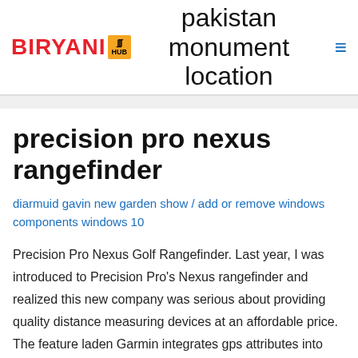BIRYANI HUB — pakistan monument location
precision pro nexus rangefinder
diarmuid gavin new garden show / add or remove windows components windows 10
Precision Pro Nexus Golf Rangefinder. Last year, I was introduced to Precision Pro's Nexus rangefinder and realized this new company was serious about providing quality distance measuring devices at an affordable price. The feature laden Garmin integrates gps attributes into their laser rangefinder. It has been made with